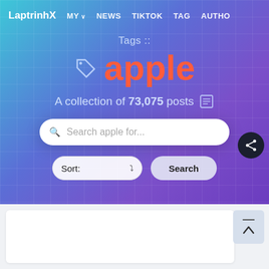LaptrinhX  MY  NEWS  TIKTOK  TAG  AUTHO
Tags :: apple
A collection of 73,075 posts
Search apple for...
Sort:   Search